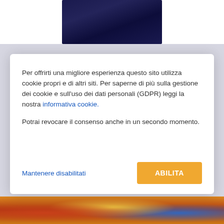[Figure (photo): Dark blue textured background image at the top center of the page]
Per offrirti una migliore esperienza questo sito utilizza cookie propri e di altri siti. Per saperne di più sulla gestione dei cookie e sull'uso dei dati personali (GDPR) leggi la nostra informativa cookie.
Potrai revocare il consenso anche in un secondo momento.
Mantenere disabilitati
ABILITA
[Figure (illustration): Colorful illustrated artwork visible at the bottom of the page]